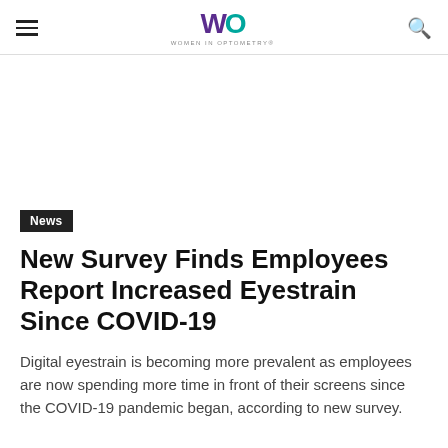Women In Optometry (WO)
News
New Survey Finds Employees Report Increased Eyestrain Since COVID-19
Digital eyestrain is becoming more prevalent as employees are now spending more time in front of their screens since the COVID-19 pandemic began, according to new survey.